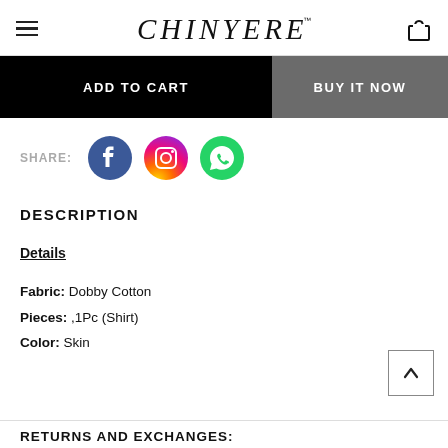CHINYERE™
[Figure (other): ADD TO CART button (black) and BUY IT NOW button (dark gray) side by side]
[Figure (other): Share row with Facebook, Instagram, and WhatsApp social icons]
DESCRIPTION
Details
Fabric: Dobby Cotton
Pieces: ,1Pc (Shirt)
Color: Skin
RETURNS AND EXCHANGES: